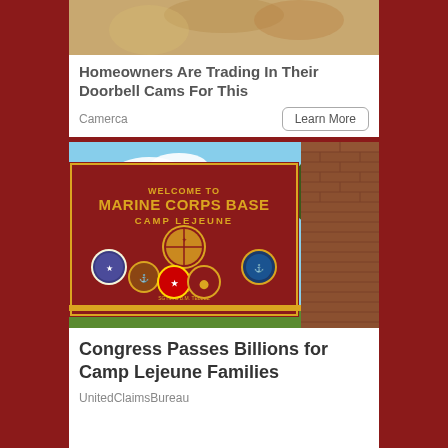[Figure (photo): Top portion of an advertisement showing a sandy/earthy surface, partially visible, associated with a doorbell cam ad]
Homeowners Are Trading In Their Doorbell Cams For This
Camerca
Learn More
[Figure (photo): Photo of the Welcome to Marine Corps Base Camp Lejeune entrance sign — a large red sign with gold lettering and multiple military unit emblems/seals, brick pillar visible on right, trees in background]
Congress Passes Billions for Camp Lejeune Families
UnitedClaimsBureau